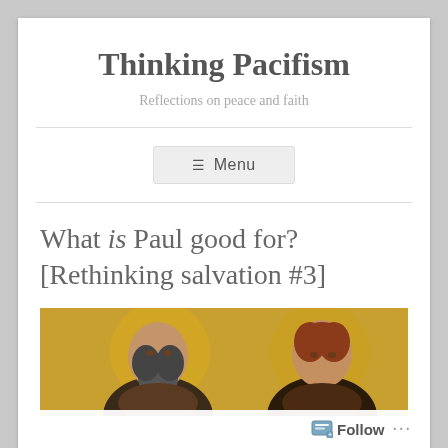Thinking Pacifism
Reflections on peace and faith
≡ Menu
What is Paul good for? [Rethinking salvation #3]
[Figure (photo): Byzantine-style icon painting showing two figures with halos on a gold background: on the left a bearded man (Paul) and on the right a figure with reddish-brown hair (Christ).]
Follow